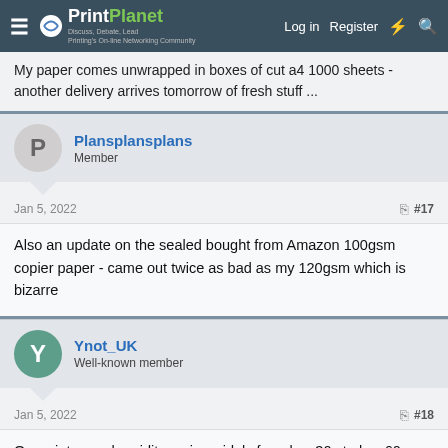PrintPlanet — Log in | Register
My paper comes unwrapped in boxes of cut a4 1000 sheets - another delivery arrives tomorrow of fresh stuff ...
Plansplansplans
Member
Jan 5, 2022  #17
Also an update on the sealed bought from Amazon 100gsm copier paper - came out twice as bad as my 120gsm which is bizarre
Ynot_UK
Well-known member
Jan 5, 2022  #18
Our print room humidity varies widely from low 30s to low 60s, depending on the environmentals (today it is 37%).